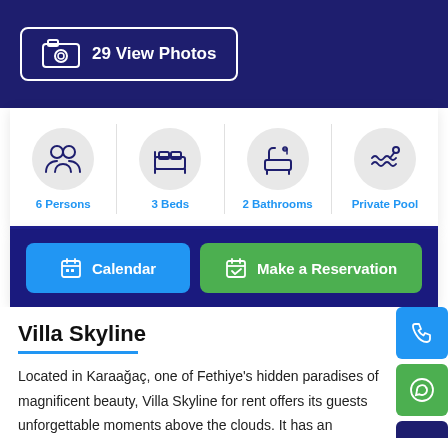[Figure (screenshot): 29 View Photos button with camera icon on dark blue background]
[Figure (infographic): Amenity icons: 6 Persons, 3 Beds, 2 Bathrooms, Private Pool in circular grey badges with blue labels]
[Figure (other): Calendar button (blue) and Make a Reservation button (green) on dark blue bar]
Villa Skyline
Located in Karaağaç, one of Fethiye's hidden paradises of magnificent beauty, Villa Skyline for rent offers its guests unforgettable moments above the clouds. It has an
[Figure (other): Side floating buttons: phone (blue), WhatsApp (green), scroll-up (dark blue)]